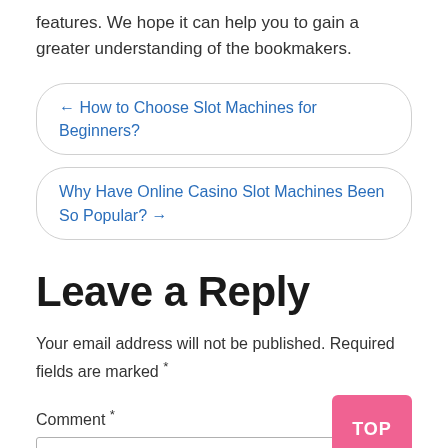features. We hope it can help you to gain a greater understanding of the bookmakers.
← How to Choose Slot Machines for Beginners?
Why Have Online Casino Slot Machines Been So Popular? →
Leave a Reply
Your email address will not be published. Required fields are marked *
Comment *